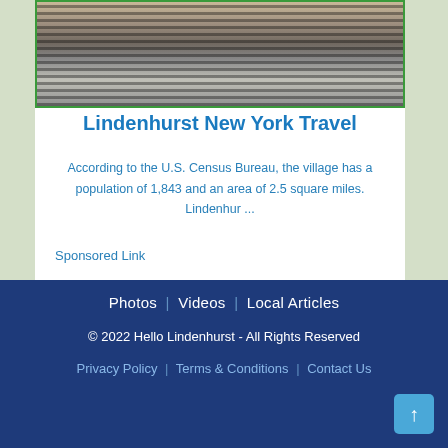[Figure (photo): Photo of a person in a striped shirt in front of an ornate building facade, partially cropped]
Lindenhurst New York Travel
According to the U.S. Census Bureau, the village has a population of 1,843 and an area of 2.5 square miles. Lindenhur ...
Sponsored Link
Sponsored Link
[Figure (map): Street map of Lindenhurst area showing Amityville label and coastal water]
Photos | Videos | Local Articles
© 2022 Hello Lindenhurst - All Rights Reserved
Privacy Policy | Terms & Conditions | Contact Us